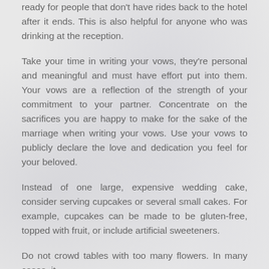ready for people that don't have rides back to the hotel after it ends. This is also helpful for anyone who was drinking at the reception.
Take your time in writing your vows, they're personal and meaningful and must have effort put into them. Your vows are a reflection of the strength of your commitment to your partner. Concentrate on the sacrifices you are happy to make for the sake of the marriage when writing your vows. Use your vows to publicly declare the love and dedication you feel for your beloved.
Instead of one large, expensive wedding cake, consider serving cupcakes or several small cakes. For example, cupcakes can be made to be gluten-free, topped with fruit, or include artificial sweeteners.
Do not crowd tables with too many flowers. In many cases, it